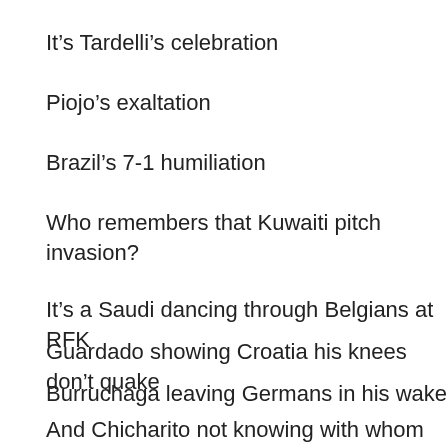It’s Tardelli’s celebration
Piojo’s exaltation
Brazil’s 7-1 humiliation
Who remembers that Kuwaiti pitch invasion?
It’s a Saudi dancing through Belgians at RFK
Guardado showing Croatia his knees don’t quake
Burruchaga leaving Germans in his wake
And Chicharito not knowing with whom to celebrate